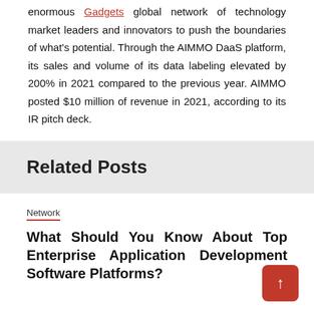enormous Gadgets global network of technology market leaders and innovators to push the boundaries of what's potential. Through the AIMMO DaaS platform, its sales and volume of its data labeling elevated by 200% in 2021 compared to the previous year. AIMMO posted $10 million of revenue in 2021, according to its IR pitch deck.
Related Posts
Network
What Should You Know About Top Enterprise Application Development Software Platforms?